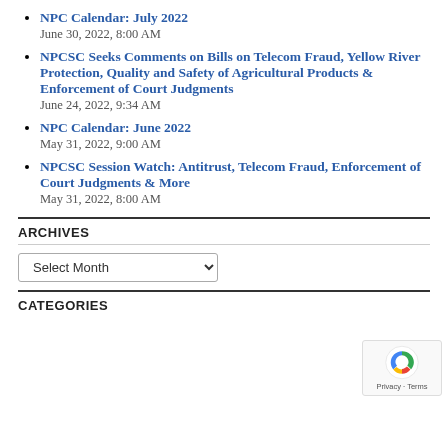NPC Calendar: July 2022
June 30, 2022, 8:00 AM
NPCSC Seeks Comments on Bills on Telecom Fraud, Yellow River Protection, Quality and Safety of Agricultural Products & Enforcement of Court Judgments
June 24, 2022, 9:34 AM
NPC Calendar: June 2022
May 31, 2022, 9:00 AM
NPCSC Session Watch: Antitrust, Telecom Fraud, Enforcement of Court Judgments & More
May 31, 2022, 8:00 AM
ARCHIVES
CATEGORIES